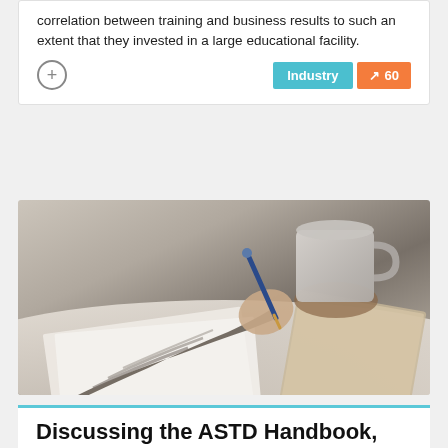correlation between training and business results to such an extent that they invested in a large educational facility.
[Figure (photo): A person in a grey knitted sweater writing with a blue pen on paper at a desk, with a coffee mug and notebook in the background.]
Discussing the ASTD Handbook, about in a Dabbilahad Execute.